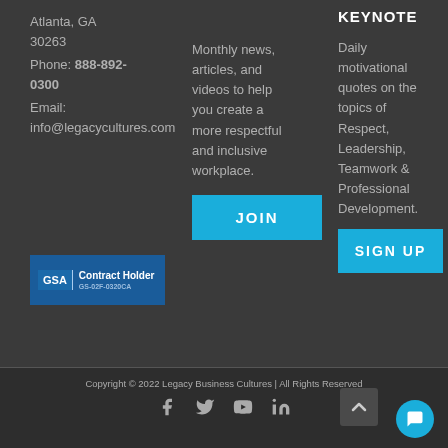Atlanta, GA 30263
Phone: 888-892-0300
Email: info@legacycultures.com
[Figure (logo): GSA Contract Holder badge with blue background]
Monthly news, articles, and videos to help you create a more respectful and inclusive workplace.
JOIN
KEYNOTE
Daily motivational quotes on the topics of Respect, Leadership, Teamwork & Professional Development.
SIGN UP
Copyright © 2022 Legacy Business Cultures | All Rights Reserved